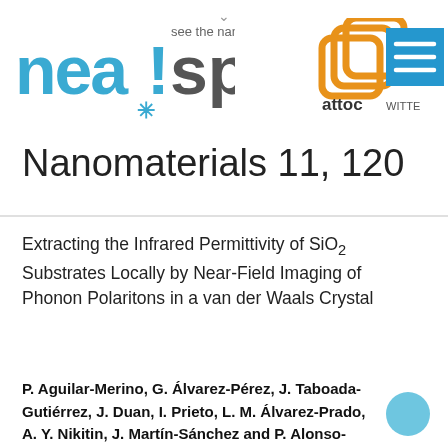[Figure (logo): neaspec 'see the nanoworld' logo on the left; attocube/WITTE logos on the right with orange layered squares icon and blue menu icon]
Nanomaterials 11, 120
Extracting the Infrared Permittivity of SiO₂ Substrates Locally by Near-Field Imaging of Phonon Polaritons in a van der Waals Crystal
P. Aguilar-Merino, G. Álvarez-Pérez, J. Taboada-Gutiérrez, J. Duan, I. Prieto, L. M. Álvarez-Prado, A. Y. Nikitin, J. Martín-Sánchez and P. Alonso-González